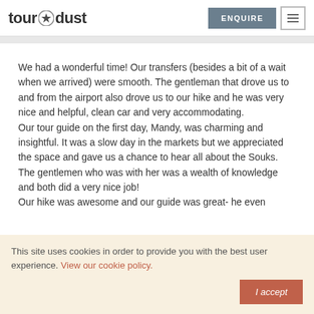tour dust | ENQUIRE
We had a wonderful time! Our transfers (besides a bit of a wait when we arrived) were smooth. The gentleman that drove us to and from the airport also drove us to our hike and he was very nice and helpful, clean car and very accommodating.
Our tour guide on the first day, Mandy, was charming and insightful. It was a slow day in the markets but we appreciated the space and gave us a chance to hear all about the Souks. The gentlemen who was with her was a wealth of knowledge and both did a very nice job!
Our hike was awesome and our guide was great- he even
This site uses cookies in order to provide you with the best user experience. View our cookie policy.